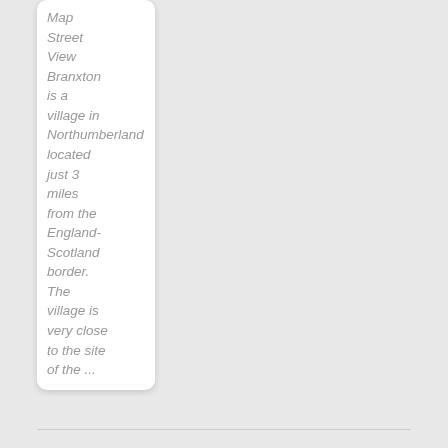Map Street View Branxton is a village in Northumberland located just 3 miles from the England-Scotland border. The village is very close to the site of the ...